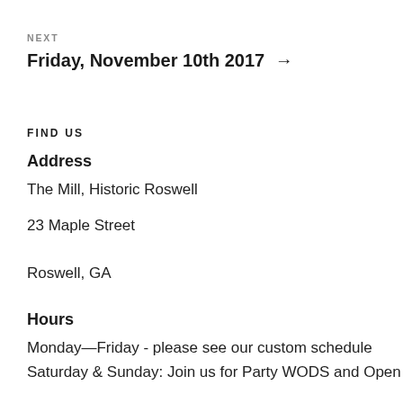NEXT
Friday, November 10th 2017 →
FIND US
Address
The Mill, Historic Roswell
23 Maple Street
Roswell, GA
Hours
Monday—Friday - please see our custom schedule
Saturday & Sunday: Join us for Party WODS and Open